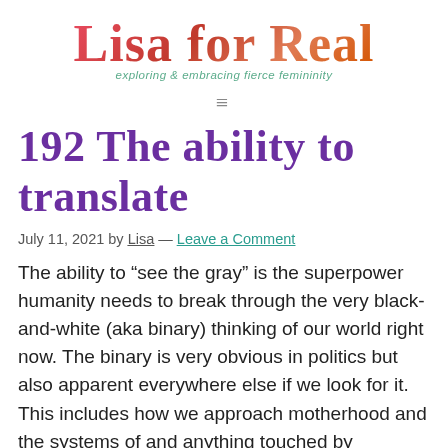Lisa for Real — exploring & embracing fierce femininity
192 The ability to translate
July 11, 2021 by Lisa — Leave a Comment
The ability to “see the gray” is the superpower humanity needs to break through the very black-and-white (aka binary) thinking of our world right now. The binary is very obvious in politics but also apparent everywhere else if we look for it. This includes how we approach motherhood and the systems of and anything touched by